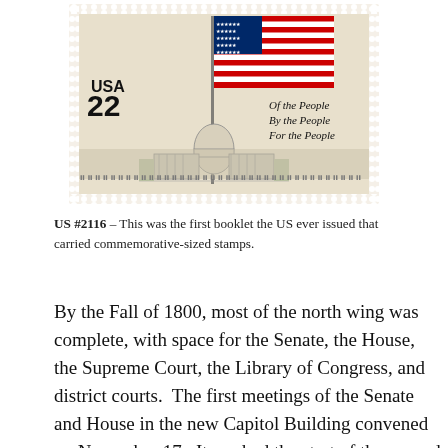[Figure (illustration): US postage stamp #2116, 22 cents, showing the US Capitol building and an American flag on a flagpole. Text on stamp reads 'USA 22' on the left and 'Of the People / By the People / For the People' on the right. The stamp has perforated edges.]
US #2116 – This was the first booklet the US ever issued that carried commemorative-sized stamps.
By the Fall of 1800, most of the north wing was complete, with space for the Senate, the House, the Supreme Court, the Library of Congress, and district courts.  The first meetings of the Senate and House in the new Capitol Building convened on November 17.  It marked the start of the second session of the 6th US Congress.  However, a bad storm had hit the east coast, making it difficult for some of the Congressmen to make it to Washington on time.  When the Senate first met on that day, only 15